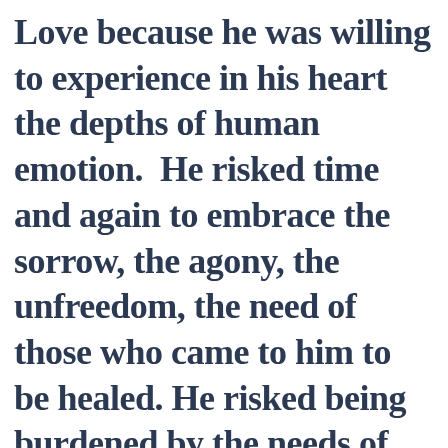Love because he was willing to experience in his heart the depths of human emotion.  He risked time and again to embrace the sorrow, the agony, the unfreedom, the need of those who came to him to be healed.  He risked being burdened by the needs of others.  He risked being disheartened by those who would take from him and not even say thank...